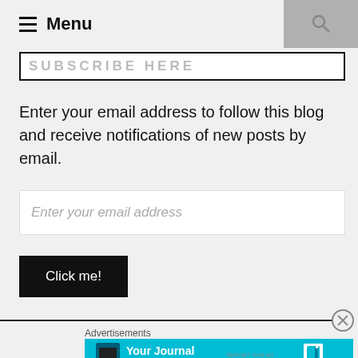Menu
SUBSCRIBE HERE
Enter your email address to follow this blog and receive notifications of new posts by email.
Enter your email address
Click me!
Advertisements
[Figure (screenshot): Day One 'Your Journal for life' advertisement banner in cyan/teal color with phone image and Day One logo]